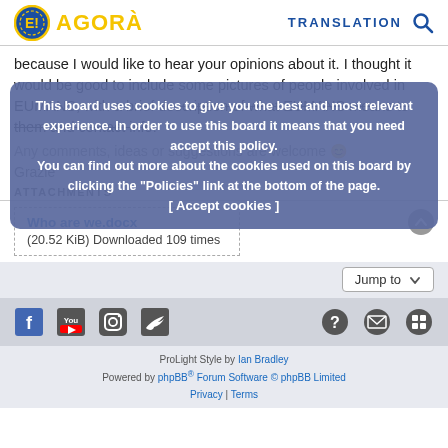E! AGORÀ  TRANSLATION
because I would like to hear your opinions about it. I thought it would be good to include some pictures of people involved in EUMANS, with a brief description of what EUMANS means to them and contact info.
This board uses cookies to give you the best and most relevant experience. In order to use this board it means that you need accept this policy. You can find out more about the cookies used on this board by clicking the "Policies" link at the bottom of the page. [ Accept cookies ]
Any comments, ideas or suggestions are welcome 😊
Grazie
ATTACHMENTS
Who are we.docx
(20.52 KiB) Downloaded 109 times
Jump to
ProLight Style by Ian Bradley
Powered by phpBB® Forum Software © phpBB Limited
Privacy | Terms